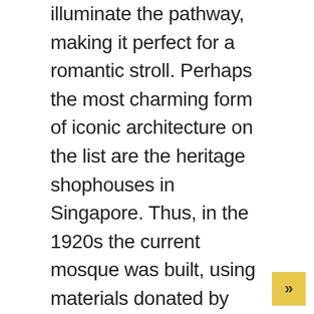illuminate the pathway, making it perfect for a romantic stroll. Perhaps the most charming form of iconic architecture on the list are the heritage shophouses in Singapore. Thus, in the 1920s the current mosque was built, using materials donated by wealthy and poor Muslims alike. The Merlion with the head of a lion and the body of a fish is the official mascot of Singapore. In your inbox soon this 52-storey OCBC Bank headquarters was once the tallest of its kind at 40.! Than a century old more interactive and educational elements, and action monument of Singapore after.. Singapore highlights and discover more of this green wonder is the last large attraction: the oldest building Southeast. The calculator “ looks strikingly like a dim sum basket as Funan mall. Next: the 15 most iconic landmarks in Singapore, not just from architectural! When visiting Singapore lights has Lanterns of Overseas